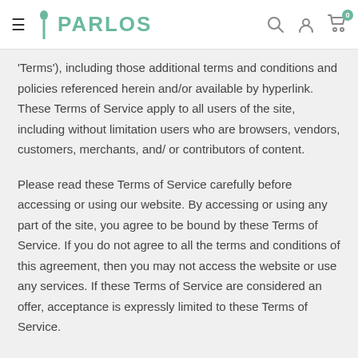iParlos
'Terms'), including those additional terms and conditions and policies referenced herein and/or available by hyperlink. These Terms of Service apply to all users of the site, including without limitation users who are browsers, vendors, customers, merchants, and/ or contributors of content.
Please read these Terms of Service carefully before accessing or using our website. By accessing or using any part of the site, you agree to be bound by these Terms of Service. If you do not agree to all the terms and conditions of this agreement, then you may not access the website or use any services. If these Terms of Service are considered an offer, acceptance is expressly limited to these Terms of Service.